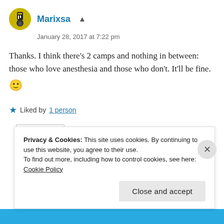Marixsa
January 28, 2017 at 7:22 pm
Thanks. I think there's 2 camps and nothing in between: those who love anesthesia and those who don't. It'll be fine. 🙂
Liked by 1 person
Reply
Privacy & Cookies: This site uses cookies. By continuing to use this website, you agree to their use.
To find out more, including how to control cookies, see here: Cookie Policy
Close and accept